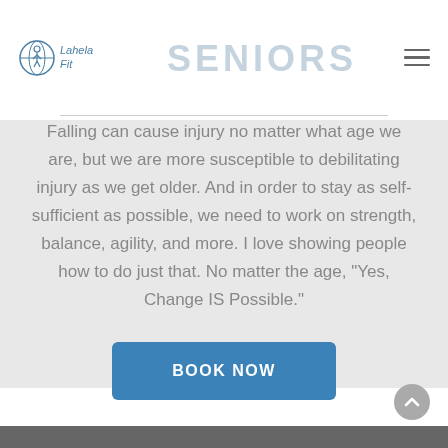Lahela Fit — SENIORS
Falling can cause injury no matter what age we are, but we are more susceptible to debilitating injury as we get older. And in order to stay as self-sufficient as possible, we need to work on strength, balance, agility, and more. I love showing people how to do just that. No matter the age, "Yes, Change IS Possible."
BOOK NOW